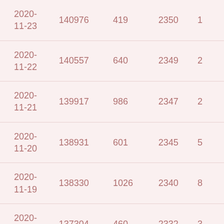| 2020-11-23 | 140976 | 419 | 2350 | 1 |
| 2020-11-22 | 140557 | 640 | 2349 | 2 |
| 2020-11-21 | 139917 | 986 | 2347 | 2 |
| 2020-11-20 | 138931 | 601 | 2345 | 5 |
| 2020-11-19 | 138330 | 1026 | 2340 | 8 |
| 2020-11-18 | 137304 | 460 | 2332 | 3 |
| 2020-11-17 | 136844 | 494 | 2329 | 4 |